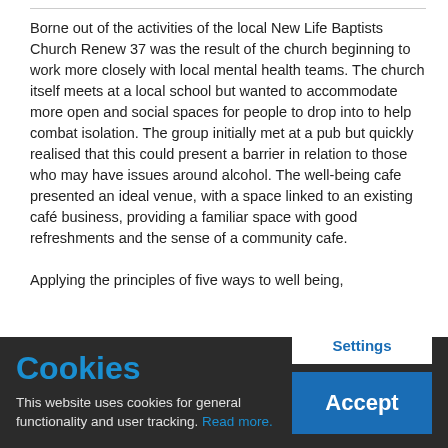Borne out of the activities of the local New Life Baptists Church Renew 37 was the result of the church beginning to work more closely with local mental health teams. The church itself meets at a local school but wanted to accommodate more open and social spaces for people to drop into to help combat isolation. The group initially met at a pub but quickly realised that this could present a barrier in relation to those who may have issues around alcohol. The well-being cafe presented an ideal venue, with a space linked to an existing café business, providing a familiar space with good refreshments and the sense of a community cafe.

Applying the principles of five ways to well being,
Cookies
This website uses cookies for general functionality and user tracking. Read more.